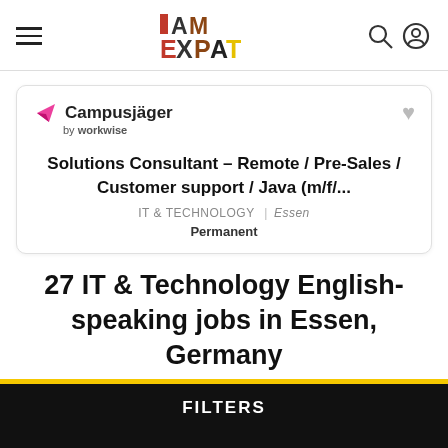I AM EXPAT
[Figure (screenshot): Job listing card for Campusjäger by workwise: Solutions Consultant - Remote / Pre-Sales / Customer support / Java (m/f/... in IT & Technology, Essen, Permanent]
27 IT & Technology English-speaking jobs in Essen, Germany
FILTERS